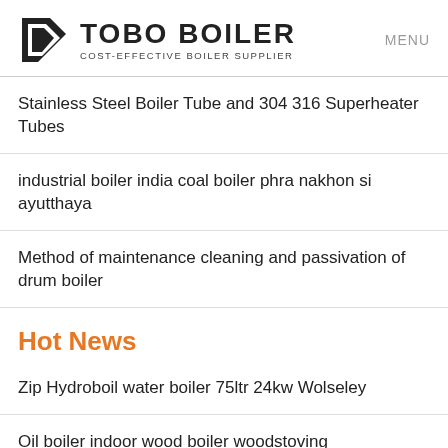TOBO BOILER COST-EFFECTIVE BOILER SUPPLIER | MENU
Stainless Steel Boiler Tube and 304 316 Superheater Tubes
industrial boiler india coal boiler phra nakhon si ayutthaya
Method of maintenance cleaning and passivation of drum boiler
Hot News
Zip Hydroboil water boiler 75ltr 24kw Wolseley
Oil boiler indoor wood boiler woodstoving